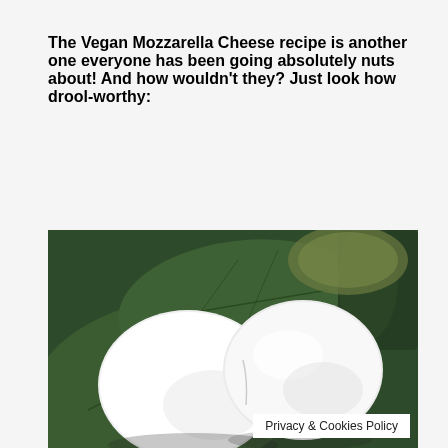The Vegan Mozzarella Cheese recipe is another one everyone has been going absolutely nuts about! And how wouldn't they? Just look how drool-worthy:
[Figure (photo): Two white smooth balls of vegan mozzarella cheese resting on large dark green leaves, with green foliage in the background. A ceramic or pottery dish is partially visible.]
Privacy & Cookies Policy